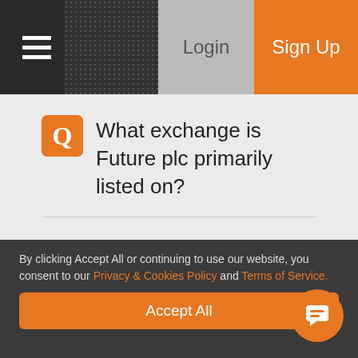Login | Sign Up
What exchange is Future plc primarily listed on?
Core offering
By clicking Accept All or continuing to use our website, you consent to our Privacy & Cookies Policy and Terms of Service.
Accept All